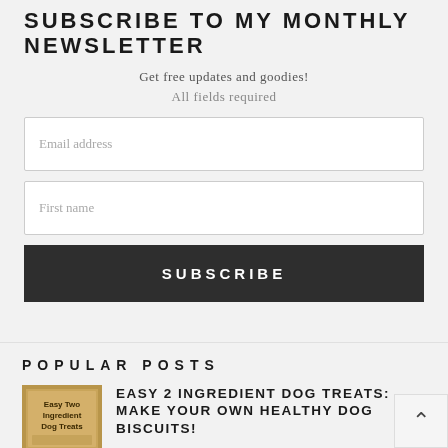SUBSCRIBE TO MY MONTHLY NEWSLETTER
Get free updates and goodies!
All fields required
Email address
First name
SUBSCRIBE
POPULAR POSTS
EASY 2 INGREDIENT DOG TREATS: MAKE YOUR OWN HEALTHY DOG BISCUITS!